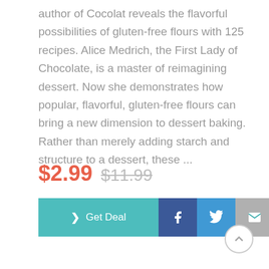author of Cocolat reveals the flavorful possibilities of gluten-free flours with 125 recipes. Alice Medrich, the First Lady of Chocolate, is a master of reimagining dessert. Now she demonstrates how popular, flavorful, gluten-free flours can bring a new dimension to dessert baking. Rather than merely adding starch and structure to a dessert, these ...
$2.99  $11.99
[Figure (screenshot): Action buttons row: teal 'Get Deal' button with right arrow chevron, dark blue Facebook button with 'f' icon, blue Twitter button with bird icon, gray email button with envelope icon]